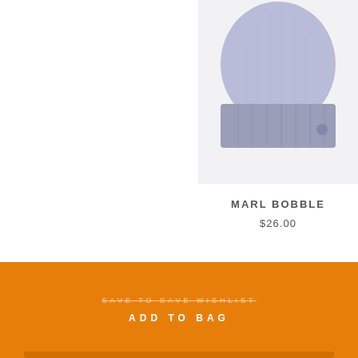[Figure (photo): Partial product image of a lavender/light purple knit bobble hat on a light gray background, cropped showing upper portion]
MARL BOBBLE
$26.00
SAVE TO SAVE WISHLIST
ADD TO BAG